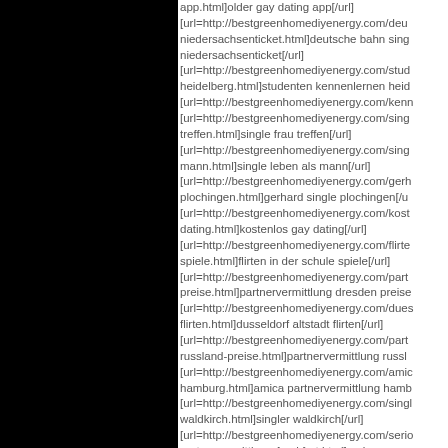app.html]older gay dating app[/url] [url=http://bestgreenhomediyenergy.com/deut-niedersachsenticket.html]deutsche bahn single niedersachsenticket[/url] [url=http://bestgreenhomediyenergy.com/stud-heidelberg.html]studenten kennenlernen heid... [url=http://bestgreenhomediyenergy.com/ken... [url=http://bestgreenhomediyenergy.com/sing-treffen.html]single frau treffen[/url] [url=http://bestgreenhomediyenergy.com/sing-mann.html]single leben als mann[/url] [url=http://bestgreenhomediyenergy.com/gerh-plochingen.html]gerhard single plochingen[/u... [url=http://bestgreenhomediyenergy.com/kost-dating.html]kostenlos gay dating[/url] [url=http://bestgreenhomediyenergy.com/flirt-spiele.html]flirten in der schule spiele[/url] [url=http://bestgreenhomediyenergy.com/part-preise.html]partnervermittlung dresden preise... [url=http://bestgreenhomediyenergy.com/dues-flirten.html]dusseldorf altstadt flirten[/url] [url=http://bestgreenhomediyenergy.com/part-russland-preise.html]partnervermittlung russl... [url=http://bestgreenhomediyenergy.com/ami-hamburg.html]amica partnervermittlung hamb... [url=http://bestgreenhomediyenergy.com/sing-waldkirch.html]singler waldkirch[/url] [url=http://bestgreenhomediyenergy.com/seri-partnervermittlung-frankfurt.html]serioese par... frankfurt[/url]
Author: t2p4q2p5